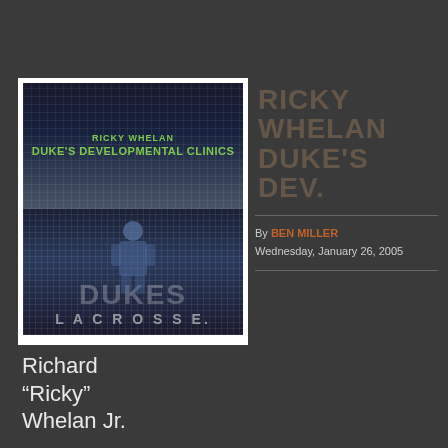[Figure (photo): Two stacked images showing 'Ricky Whelan Duke's Developmental Clinics' branding with green text on dark background with grid pattern, and Duke's Lacrosse branding below with player silhouette]
RICKY WHELAN DUKE'S DEVELOPMENTAL CLINICS
By BEN MILLER
Wednesday, January 26, 2005
Richard "Ricky" Whelan Jr.